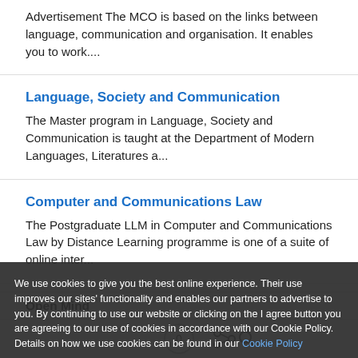Advertisement The MCO is based on the links between language, communication and organisation. It enables you to work....
Language, Society and Communication
The Master program in Language, Society and Communication is taught at the Department of Modern Languages, Literatures a...
Computer and Communications Law
The Postgraduate LLM in Computer and Communications Law by Distance Learning programme is one of a suite of online inter...
We use cookies to give you the best online experience. Their use improves our sites' functionality and enables our partners to advertise to you. By continuing to use our website or clicking on the I agree button you are agreeing to our use of cookies in accordance with our Cookie Policy. Details on how we use cookies can be found in our Cookie Policy
small size and scholarship intensity of the committee ensure that students challenge each....
Open Mind